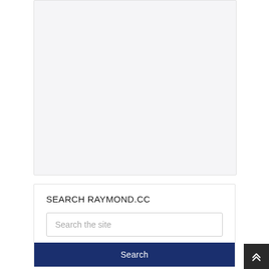[Figure (other): Empty light gray placeholder box]
SEARCH RAYMOND.CC
[Figure (other): Search input field with placeholder text 'Search the site']
Search